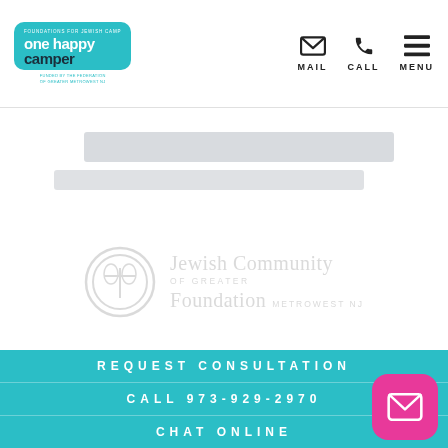one happy camper | MAIL | CALL | MENU
[Figure (logo): Faded gray banner/bar graphic at top of content area]
[Figure (logo): Jewish Community Foundation of Greater MetroWest NJ logo in faded gray]
REQUEST CONSULTATION
CALL 973-929-2970
CHAT ONLINE